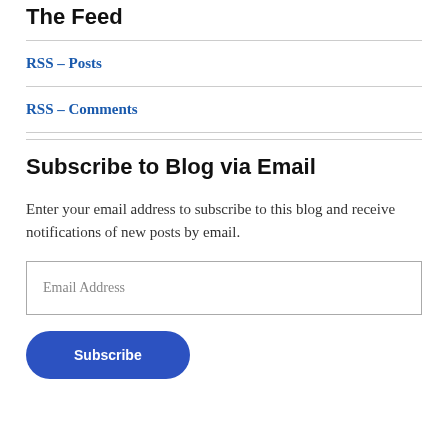The Feed
RSS – Posts
RSS – Comments
Subscribe to Blog via Email
Enter your email address to subscribe to this blog and receive notifications of new posts by email.
Email Address